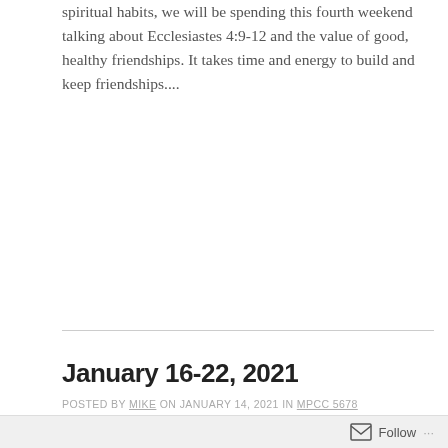spiritual habits, we will be spending this fourth weekend talking about Ecclesiastes 4:9-12 and the value of good, healthy friendships. It takes time and energy to build and keep friendships....
READ MORE
January 16-22, 2021
POSTED BY MIKE ON JANUARY 14, 2021 IN MPCC 5678
[Figure (illustration): Blue banner image with large letters spelling HABITS in a stylized font, partially visible text below]